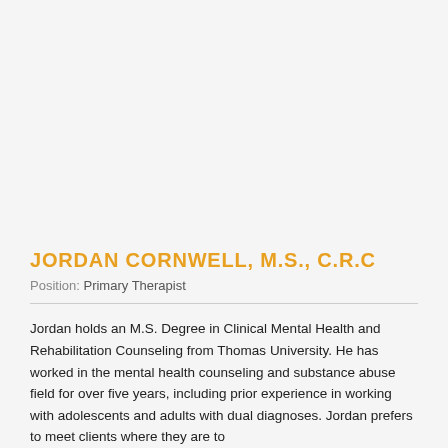JORDAN CORNWELL, M.S., C.R.C
Position: Primary Therapist
Jordan holds an M.S. Degree in Clinical Mental Health and Rehabilitation Counseling from Thomas University. He has worked in the mental health counseling and substance abuse field for over five years, including prior experience in working with adolescents and adults with dual diagnoses. Jordan prefers to meet clients where they are to